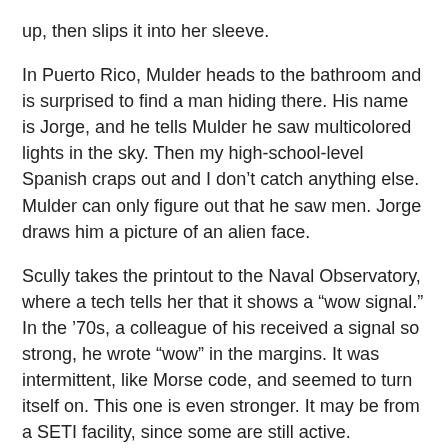up, then slips it into her sleeve.
In Puerto Rico, Mulder heads to the bathroom and is surprised to find a man hiding there. His name is Jorge, and he tells Mulder he saw multicolored lights in the sky. Then my high-school-level Spanish craps out and I don't catch anything else. Mulder can only figure out that he saw men. Jorge draws him a picture of an alien face.
Scully takes the printout to the Naval Observatory, where a tech tells her that it shows a “wow signal.” In the ‘70s, a colleague of his received a signal so strong, he wrote “wow” in the margins. It was intermittent, like Morse code, and seemed to turn itself on. This one is even stronger. It may be from a SETI facility, since some are still active.
Scully checks some flight manifests for the cities that